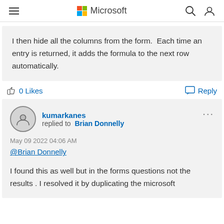Microsoft
I then hide all the columns from the form.  Each time an entry is returned, it adds the formula to the next row automatically.
0 Likes   Reply
kumarkanes replied to Brian Donnelly
May 09 2022 04:06 AM
@Brian Donnelly
I found this as well but in the forms questions not the results . I resolved it by duplicating the microsoft